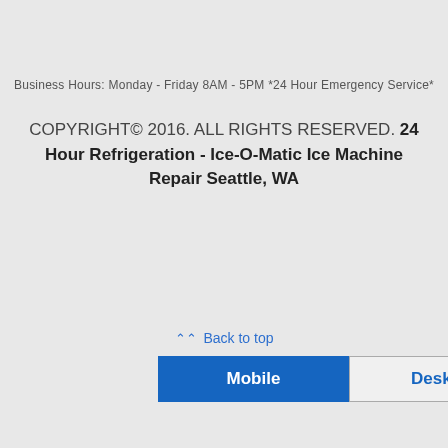Business Hours: Monday - Friday 8AM - 5PM *24 Hour Emergency Service*
COPYRIGHT© 2016. ALL RIGHTS RESERVED. 24 Hour Refrigeration - Ice-O-Matic Ice Machine Repair Seattle, WA
✿ Back to top
Mobile   Desktop